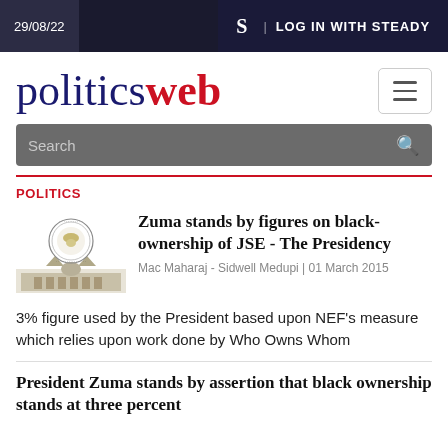29/08/22
S | LOG IN WITH STEADY
politicsweb
Search
POLITICS
Zuma stands by figures on black-ownership of JSE - The Presidency
Mac Maharaj - Sidwell Medupi | 01 March 2015
3% figure used by the President based upon NEF's measure which relies upon work done by Who Owns Whom
President Zuma stands by assertion that black ownership stands at three percent